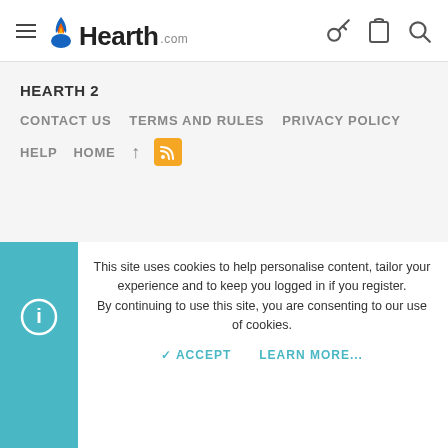Hearth.com navigation header with hamburger menu, logo, and icons for key, clipboard, search
HEARTH 2
CONTACT US   TERMS AND RULES   PRIVACY POLICY
HELP   HOME   ↑   RSS
Community platform by XenForo® © 2010-2022 XenForo Ltd. | Style and
This site uses cookies to help personalise content, tailor your experience and to keep you logged in if you register.
By continuing to use this site, you are consenting to our use of cookies.
✓ ACCEPT   LEARN MORE...